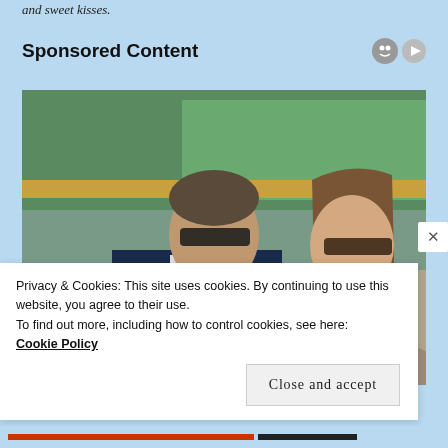and sweet kisses.
Sponsored Content
[Figure (photo): Two people sitting in stadium seating at what appears to be a tennis event. A man in a dark navy suit with a grey tie wearing sunglasses sits on the left, and a young woman with long brown hair wearing sunglasses and a floral top sits on the right.]
Privacy & Cookies: This site uses cookies. By continuing to use this website, you agree to their use.
To find out more, including how to control cookies, see here:
Cookie Policy
Close and accept